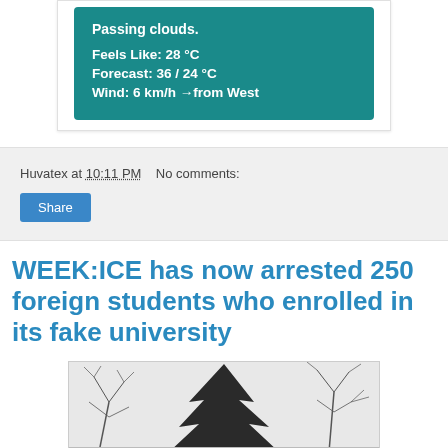[Figure (screenshot): Weather widget showing teal/dark cyan background with weather details: Passing clouds, Feels Like: 28 °C, Forecast: 36 / 24 °C, Wind: 6 km/h → from West]
Huvatex at 10:11 PM   No comments:
Share
WEEK:ICE has now arrested 250 foreign students who enrolled in its fake university
[Figure (photo): Winter scene with bare tree branches and a large conifer/fir tree in silhouette against a light sky]